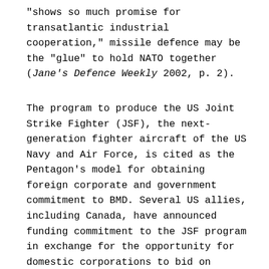“shows so much promise for transatlantic industrial cooperation,” missile defence may be the “glue” to hold NATO together (Jane’s Defence Weekly 2002, p. 2).
The program to produce the US Joint Strike Fighter (JSF), the next-generation fighter aircraft of the US Navy and Air Force, is cited as the Pentagon’s model for obtaining foreign corporate and government commitment to BMD. Several US allies, including Canada, have announced funding commitment to the JSF program in exchange for the opportunity for domestic corporations to bid on program contracts. When the UK, and likely most other partner governments, purchase the new aircraft,